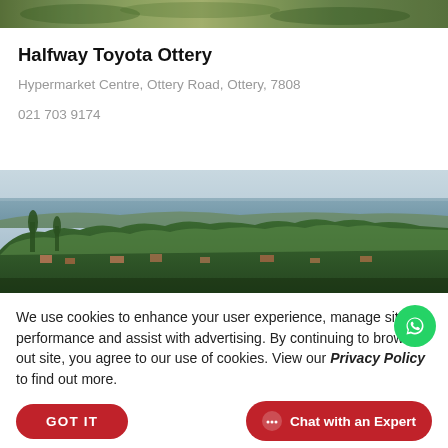[Figure (photo): Top strip — cropped photo of people or landscape, green/earthy tones]
Halfway Toyota Ottery
Hypermarket Centre, Ottery Road, Ottery, 7808
021 703 9174
[Figure (photo): Aerial panoramic landscape photo showing a coastal suburb with green trees, rooftops, and ocean/sea in the background under a grey sky]
We use cookies to enhance your user experience, manage site performance and assist with advertising. By continuing to browse out site, you agree to our use of cookies. View our Privacy Policy to find out more.
GOT IT
Chat with an Expert